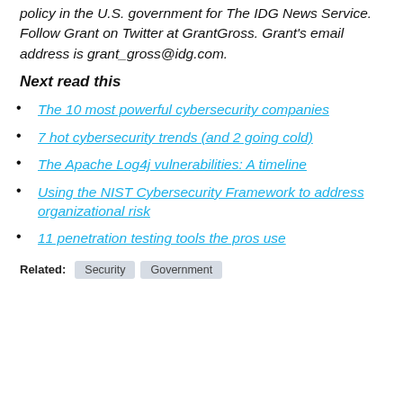policy in the U.S. government for The IDG News Service. Follow Grant on Twitter at GrantGross. Grant's email address is grant_gross@idg.com.
Next read this
The 10 most powerful cybersecurity companies
7 hot cybersecurity trends (and 2 going cold)
The Apache Log4j vulnerabilities: A timeline
Using the NIST Cybersecurity Framework to address organizational risk
11 penetration testing tools the pros use
Related: Security Government